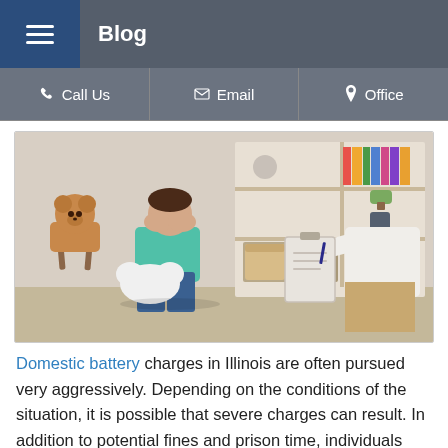Blog
Call Us | Email | Office
[Figure (photo): A young girl sitting on a small stool in a counseling or therapy room, covering her face with her hands and holding a white stuffed animal. A teddy bear sits on a chair in the background. A professional (possibly therapist) sits across from her holding a clipboard and pen. Shelves with books, toys, and storage boxes are visible in the background.]
Domestic battery charges in Illinois are often pursued very aggressively. Depending on the conditions of the situation, it is possible that severe charges can result. In addition to potential fines and prison time, individuals convicted of domestic battery may also see changes to their custodial rights for their children. A child...